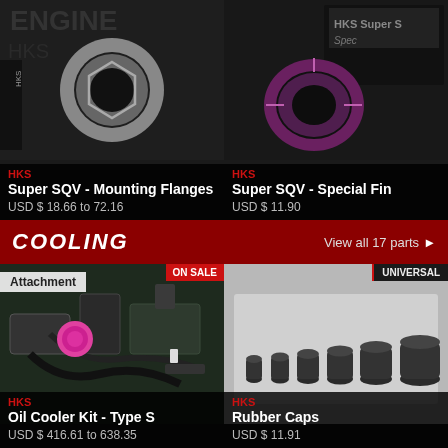[Figure (photo): HKS Super SQV Mounting Flanges product photo - metal flange ring on dark background]
HKS
Super SQV - Mounting Flanges
USD $ 18.66 to 72.16
[Figure (photo): HKS Super SQV Special Fin product photo - purple/pink anodized fin ring on dark surface with HKS Super S box in background]
HKS
Super SQV - Special Fin
USD $ 11.90
COOLING
View all 17 parts
[Figure (photo): HKS Oil Cooler Kit Type S - engine bay installation photo with pink fluid reservoir cap visible, ON SALE badge, Attachment tag]
HKS
Oil Cooler Kit - Type S
USD $ 416.61 to 638.35
[Figure (photo): HKS Rubber Caps product photo - row of black rubber caps of increasing sizes on light grey background, UNIVERSAL badge]
HKS
Rubber Caps
USD $ 11.91